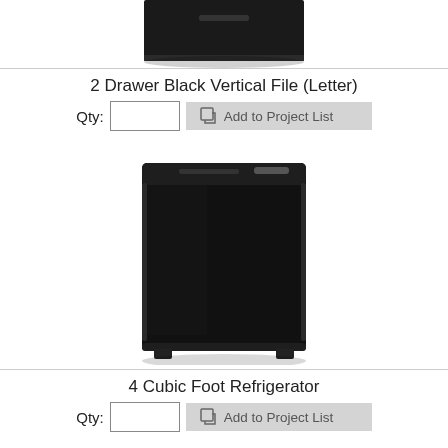[Figure (photo): Partial image of a black 2-drawer vertical file cabinet, cropped at top of page]
2 Drawer Black Vertical File (Letter)
Qty: [input] Add to Project List
[Figure (photo): Black compact mini refrigerator (4 cubic foot), front view showing door handle at top]
4 Cubic Foot Refrigerator
Qty: [input] Add to Project List